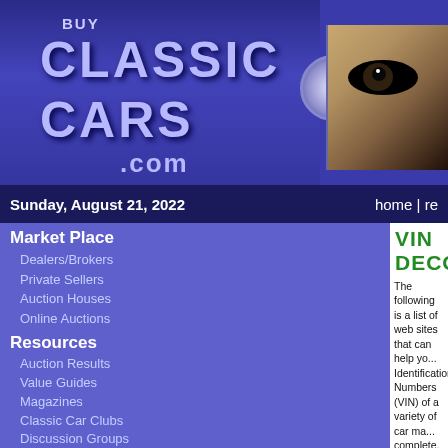BUY CLASSIC CARS .com — website banner header
Sunday, August 21, 2022
home | re...
Market Place
Dealers/Brokers
Private Sellers
Auction Houses
Online Auctions
Resources
Auction Results
Value Guides
Magazines
Classic Car Clubs
Discussion Groups
Classic Car Books
Classic Car Parts
VIN Decoding Info.
Rent a Classic
Glossary
VIN DECODING
The following is a list of web sites that can help you decode the Vehicle Identification Numbers (VIN) of a variety of car makes. While not complete, we continually add and improve this resource as information becomes available. If you know of a 'VIN Decoder' that is not on this list, please notify us via e-mail by clicking here...
ALFA ROMEO
FORD M...
AMC 1960-1980
FORD M...
AMC 1981-1986
FORD M...
AUDI
FORD T...
AUSTIN-HEALEY SPRITE
GENERA...
BMW
HEMI CA...
BUICK
JAGUAR...
CANADIAN VIN
JAGUAR...